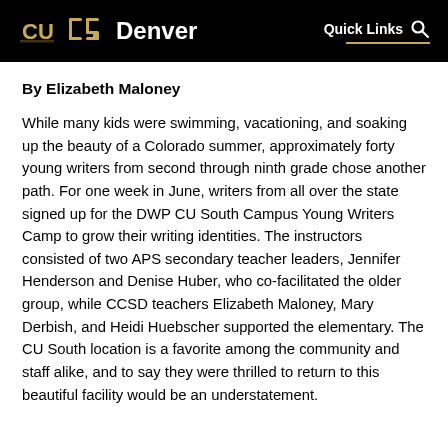CU Denver | Quick Links
By Elizabeth Maloney
While many kids were swimming, vacationing, and soaking up the beauty of a Colorado summer, approximately forty young writers from second through ninth grade chose another path. For one week in June, writers from all over the state signed up for the DWP CU South Campus Young Writers Camp to grow their writing identities. The instructors consisted of two APS secondary teacher leaders, Jennifer Henderson and Denise Huber, who co-facilitated the older group, while CCSD teachers Elizabeth Maloney, Mary Derbish, and Heidi Huebscher supported the elementary. The CU South location is a favorite among the community and staff alike, and to say they were thrilled to return to this beautiful facility would be an understatement.